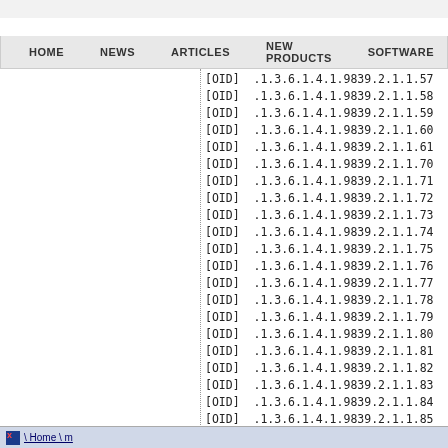HOME   NEWS   ARTICLES   NEW PRODUCTS   SOFTWARE
[OID]  .1.3.6.1.4.1.9839.2.1.1.57
[OID]  .1.3.6.1.4.1.9839.2.1.1.58
[OID]  .1.3.6.1.4.1.9839.2.1.1.59
[OID]  .1.3.6.1.4.1.9839.2.1.1.60
[OID]  .1.3.6.1.4.1.9839.2.1.1.61
[OID]  .1.3.6.1.4.1.9839.2.1.1.70
[OID]  .1.3.6.1.4.1.9839.2.1.1.71
[OID]  .1.3.6.1.4.1.9839.2.1.1.72
[OID]  .1.3.6.1.4.1.9839.2.1.1.73
[OID]  .1.3.6.1.4.1.9839.2.1.1.74
[OID]  .1.3.6.1.4.1.9839.2.1.1.75
[OID]  .1.3.6.1.4.1.9839.2.1.1.76
[OID]  .1.3.6.1.4.1.9839.2.1.1.77
[OID]  .1.3.6.1.4.1.9839.2.1.1.78
[OID]  .1.3.6.1.4.1.9839.2.1.1.79
[OID]  .1.3.6.1.4.1.9839.2.1.1.80
[OID]  .1.3.6.1.4.1.9839.2.1.1.81
[OID]  .1.3.6.1.4.1.9839.2.1.1.82
[OID]  .1.3.6.1.4.1.9839.2.1.1.83
[OID]  .1.3.6.1.4.1.9839.2.1.1.84
[OID]  .1.3.6.1.4.1.9839.2.1.1.85
[OID]  .1.3.6.1.4.1.9839.2.1.1.86
[OID]  .1.3.6.1.4.1.9839.2.1.1.87
[OID]  .1.3.6.1.4.1.9839.2.1.1.88
[OID]  .1.3.6.1.4.1.9839.2.1.1.89
\ Home \ m